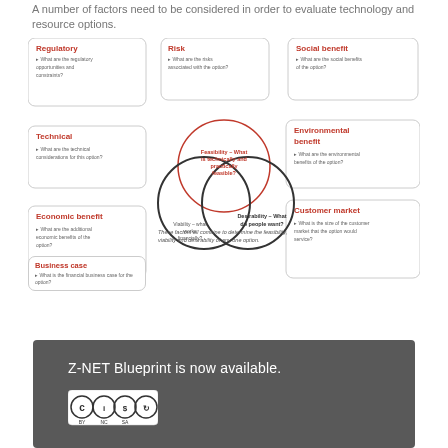A number of factors need to be considered in order to evaluate technology and resource options.
[Figure (infographic): Diagram showing six factor boxes (Regulatory, Risk, Social benefit, Technical, Environmental benefit, Economic benefit, Business case, Customer market) arranged around a central Venn diagram of three overlapping circles labeled Feasibility, Viability, and Desirability.]
These factors all combine to determine the feasibility, viability and desirability of any one option.
Z-NET Blueprint is now available.